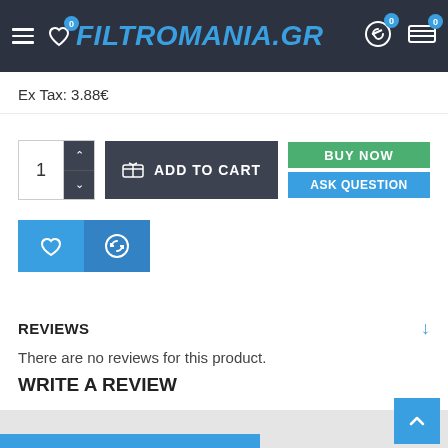FILTROMANIA.GR
Ex Tax: 3.88€
[Figure (screenshot): Add to cart section with quantity selector showing 1, ADD TO CART button, BUY NOW button in green, and ASK QUESTION button in blue]
[Figure (screenshot): Wishlist (heart) and compare (arrows) icon buttons in blue]
REVIEWS
There are no reviews for this product.
WRITE A REVIEW